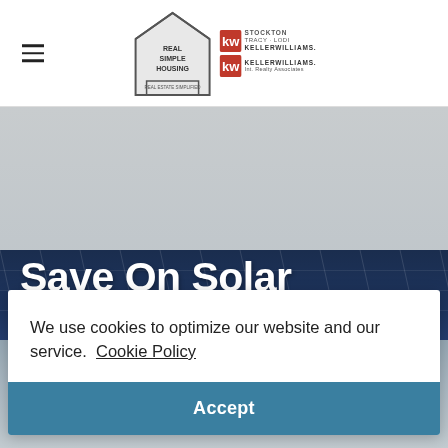Real Simple Housing | Keller Williams
[Figure (screenshot): Website screenshot showing header with Real Simple Housing logo and Keller Williams branding, hero section with solar panel roof image with 'Save On Solar' text, and a cookie consent dialog with Accept button]
Save On Solar
We use cookies to optimize our website and our service.  Cookie Policy
Accept